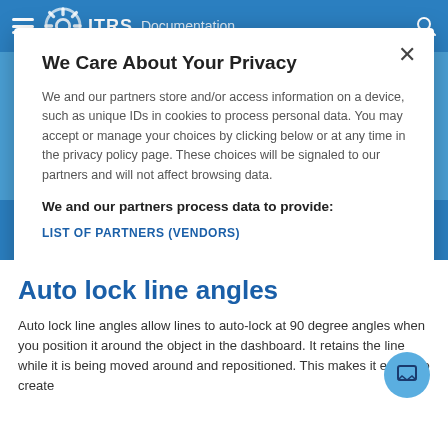ITRS Documentation
We Care About Your Privacy
We and our partners store and/or access information on a device, such as unique IDs in cookies to process personal data. You may accept or manage your choices by clicking below or at any time in the privacy policy page. These choices will be signaled to our partners and will not affect browsing data.
We and our partners process data to provide:
LIST OF PARTNERS (VENDORS)
COOKIE SETTINGS
ACCEPT ALL
Auto lock line angles
Auto lock line angles allow lines to auto-lock at 90 degree angles when you position it around the object in the dashboard. It retains the line while it is being moved around and repositioned. This makes it easier to create